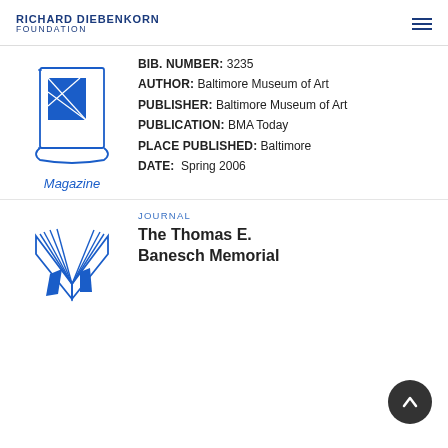RICHARD DIEBENKORN FOUNDATION
[Figure (illustration): Line drawing of an open book/magazine with a blue rectangle on the cover, labeled 'Magazine' below in blue italic text]
BIB. NUMBER: 3235
AUTHOR: Baltimore Museum of Art
PUBLISHER: Baltimore Museum of Art
PUBLICATION: BMA Today
PLACE PUBLISHED: Baltimore
DATE: Spring 2006
[Figure (illustration): Line drawing of an open journal/book with a blue bird or abstract design, representing a journal entry]
JOURNAL
The Thomas E. Bancsh Memorial